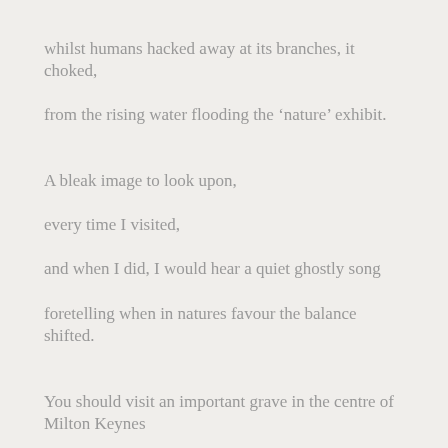whilst humans hacked away at its branches, it choked,
from the rising water flooding the ‘nature’ exhibit.
A bleak image to look upon,
every time I visited,
and when I did, I would hear a quiet ghostly song
foretelling when in natures favour the balance shifted.
You should visit an important grave in the centre of Milton Keynes